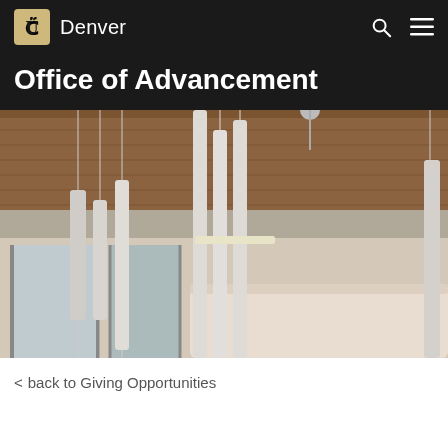CU Denver — Office of Advancement
Office of Advancement
[Figure (photo): Interior lobby photo of a university building showing hanging tubular pendant lights, a reception desk with staff, glass partitions, and a wood-paneled ceiling.]
< back to Giving Opportunities